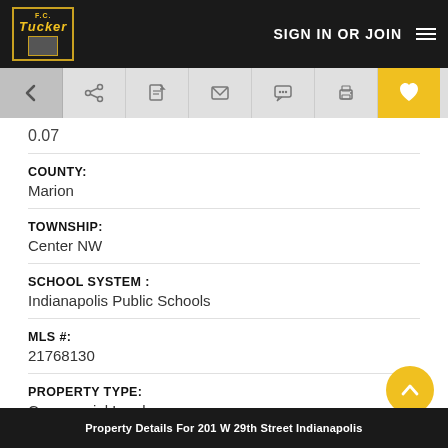SIGN IN OR JOIN
0.07
COUNTY:
Marion
TOWNSHIP:
Center NW
SCHOOL SYSTEM :
Indianapolis Public Schools
MLS #:
21768130
PROPERTY TYPE:
Commercial Land
Property Details For 201 W 29th Street Indianapolis